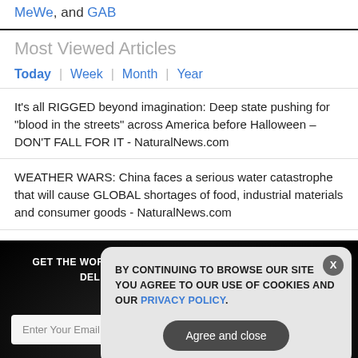MeWe, and GAB
Most Viewed Articles
Today | Week | Month | Year
It's all RIGGED beyond imagination: Deep state pushing for "blood in the streets" across America before Halloween – DON'T FALL FOR IT - NaturalNews.com
WEATHER WARS: China faces a serious water catastrophe that will cause GLOBAL shortages of food, industrial materials and consumer goods - NaturalNews.com
[Figure (screenshot): Dark newsletter signup section with email input field, SUBSCRIBE button, and an X close icon at the bottom. Overlaid by a cookie consent modal dialog.]
BY CONTINUING TO BROWSE OUR SITE YOU AGREE TO OUR USE OF COOKIES AND OUR PRIVACY POLICY.
Agree and close